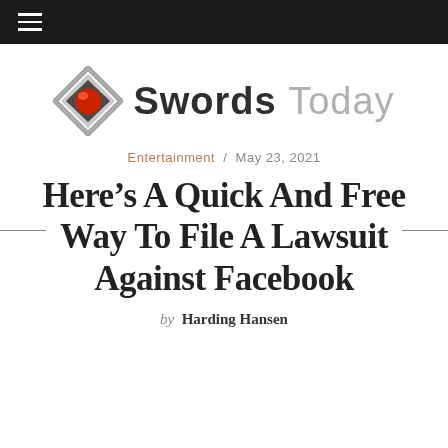Navigation bar with hamburger menu
[Figure (logo): Swords Today logo: stylized diamond/square geometric shape in silver/grey with red gem in center, beside text 'Swords Today' in bold dark and grey]
Entertainment / May 23, 2021
Here’s A Quick And Free Way To File A Lawsuit Against Facebook
by Harding Hansen